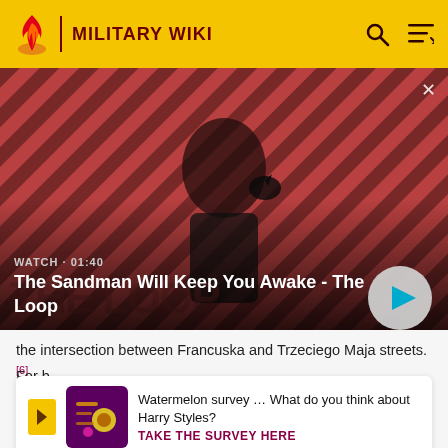Military Wiki
[Figure (screenshot): Video thumbnail showing a dark-clad figure with a raven on shoulder against a red diagonal striped background. Text overlay: WATCH · 01:40 / The Sandman Will Keep You Awake - The Loop]
the intersection between Francuska and Trzeciego Maja streets.[6]
For b local minor
Watermelon survey … What do you think about Harry Styles? TAKE THE SURVEY HERE